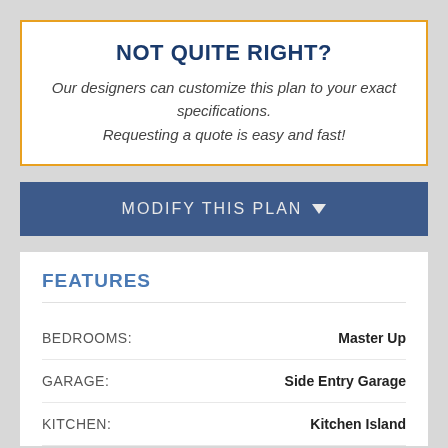NOT QUITE RIGHT?
Our designers can customize this plan to your exact specifications. Requesting a quote is easy and fast!
[Figure (other): Blue button labeled MODIFY THIS PLAN with a downward arrow]
FEATURES
| Feature | Value |
| --- | --- |
| BEDROOMS: | Master Up |
| GARAGE: | Side Entry Garage |
| KITCHEN: | Kitchen Island |